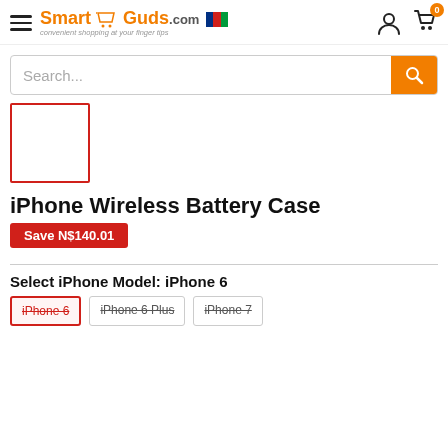[Figure (logo): SmartGuds.com logo with shopping cart icon and tagline 'convenient shopping at your finger tips']
Search...
[Figure (photo): Empty product image placeholder with red border]
iPhone Wireless Battery Case
Save N$140.01
Select iPhone Model: iPhone 6
iPhone 6 | iPhone 6 Plus | iPhone 7